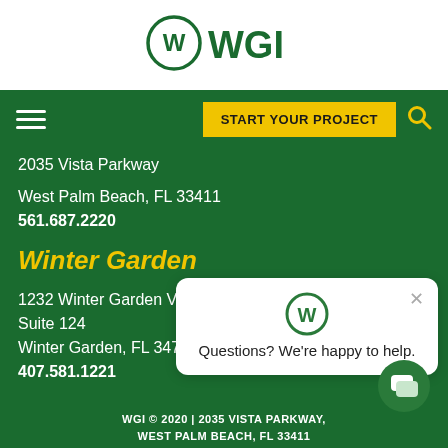[Figure (logo): WGI logo with W in circle and WGI text in dark green]
2035 Vista Parkway
West Palm Beach, FL 33411
561.687.2220
Winter Garden
1232 Winter Garden Vineland Road
Suite 124
Winter Garden, FL 34787
407.581.1221
[Figure (screenshot): Chat popup with WGI icon, close button, and text: Questions? We're happy to help.]
WGI © 2020 | 2035 VISTA PARKWAY, WEST PALM BEACH, FL 33411